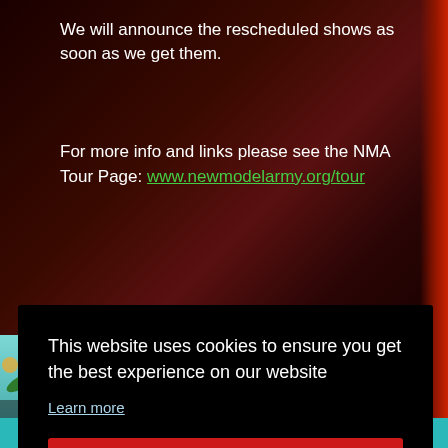We will announce the rescheduled shows as soon as we get them.
For more info and links please see the NMA Tour Page: www.newmodelarmy.org/tour
[Figure (illustration): Northern Kin Festival promotional banner with teal/turquoise background, festival tents, decorative leaves and flowers in orange and green. Text shows 'NORTHERN KIN FESTIVAL' and artist names including SQUEEZE, BEL AUTRO, NEWTON FAULKNER in yellow/green lettering.]
This website uses cookies to ensure you get the best experience on our website
Learn more
Got it!
BANK HOLIDAY WEEKEND · FRI 29 APRIL TO SUN 1 MAY 2022